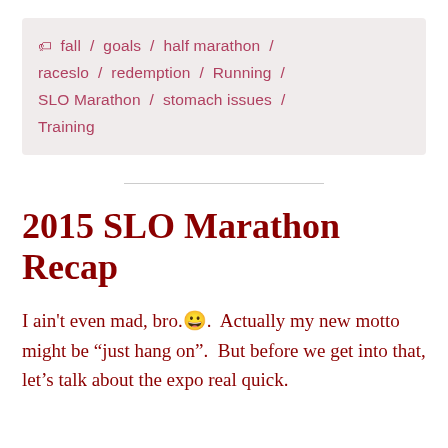🏷 fall / goals / half marathon / raceslo / redemption / Running / SLO Marathon / stomach issues / Training
2015 SLO Marathon Recap
I ain't even mad, bro.😀.  Actually my new motto might be “just hang on”.  But before we get into that, let’s talk about the expo real quick.